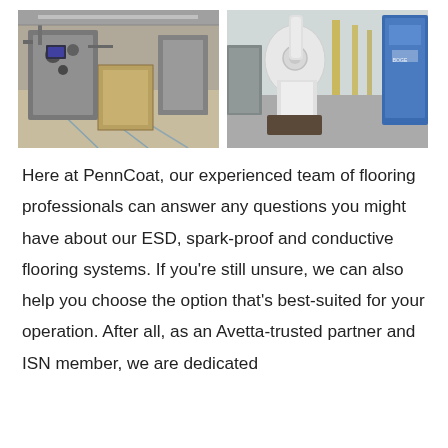[Figure (photo): Two industrial facility photos side by side: left shows manufacturing machinery on a factory floor with epoxy/coated flooring; right shows a white robotic arm and industrial equipment in a clean facility with gray flooring.]
Here at PennCoat, our experienced team of flooring professionals can answer any questions you might have about our ESD, spark-proof and conductive flooring systems. If you're still unsure, we can also help you choose the option that's best-suited for your operation. After all, as an Avetta-trusted partner and ISN member, we are dedicated